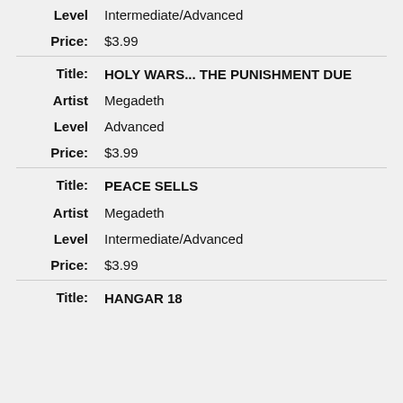Level: Intermediate/Advanced
Price: $3.99
Title: HOLY WARS... THE PUNISHMENT DUE
Artist: Megadeth
Level: Advanced
Price: $3.99
Title: PEACE SELLS
Artist: Megadeth
Level: Intermediate/Advanced
Price: $3.99
Title: HANGAR 18